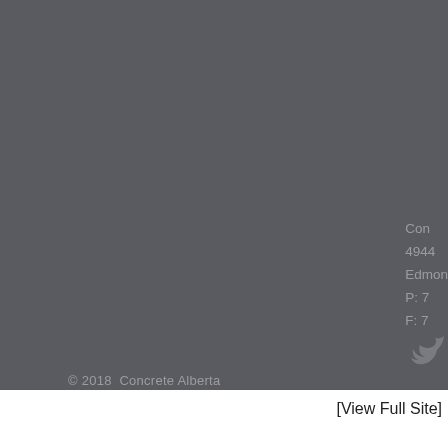Con
4944
Edmon
P: 7
F: 7
© 2018  Concrete Alberta
[View Full Site]